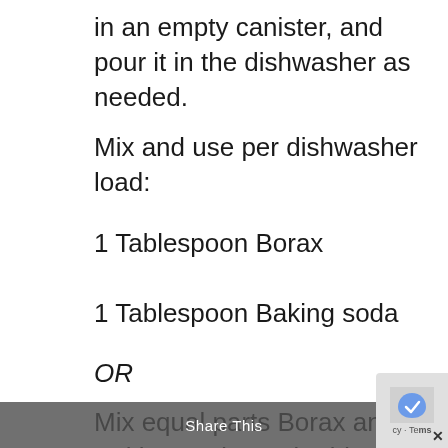in an empty canister, and pour it in the dishwasher as needed.
Mix and use per dishwasher load:
1 Tablespoon Borax
1 Tablespoon Baking soda
OR
Mix equal parts Borax and Baking Soda, and add 2 Tablespoons per